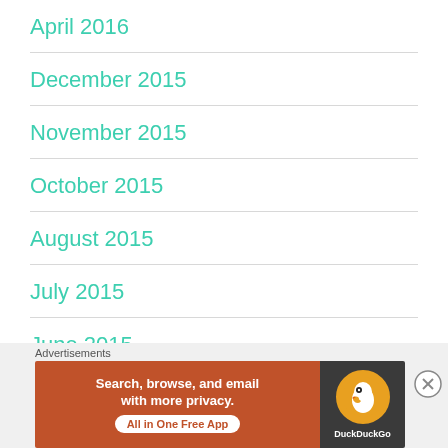April 2016
December 2015
November 2015
October 2015
August 2015
July 2015
June 2015
Advertisements
[Figure (other): DuckDuckGo advertisement banner: Search, browse, and email with more privacy. All in One Free App. DuckDuckGo logo on dark background.]